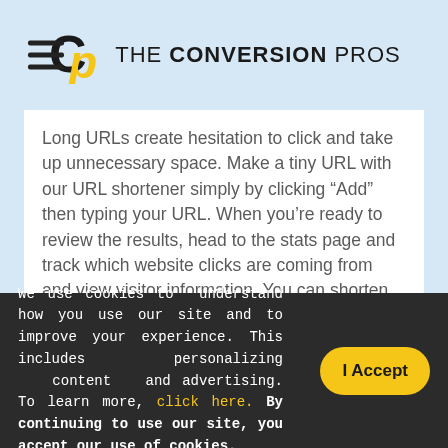[Figure (logo): The Conversion Pros logo with hamburger menu icon on the left, CP logo mark in black and yellow, and text THE CONVERSION PROS]
Long URLs create hesitation to click and take up unnecessary space. Make a tiny URL with our URL shortener simply by clicking “Add” then typing your URL. When you’re ready to review the results, head to the stats page and track which website clicks are coming from and view visitor information. You can shorten an unlimited number of links and track every potential customer.
We use cookies to understand how you use our site and to improve your experience. This includes personalizing content and advertising. To learn more, click here. By continuing to use our site, you accept our use of cookies.